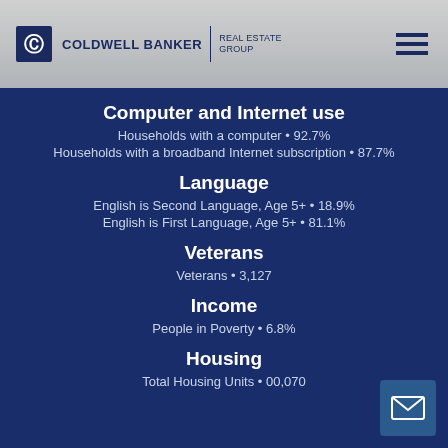Coldwell Banker Real Estate Group
Computer and Internet use
Households with a computer • 92.7%
Households with a broadband Internet subscription • 87.7%
Language
English is Second Language, Age 5+ • 18.9%
English is First Language, Age 5+ • 81.1%
Veterans
Veterans • 3,127
Income
People in Poverty • 6.8%
Housing
Total Housing Units • 00,070